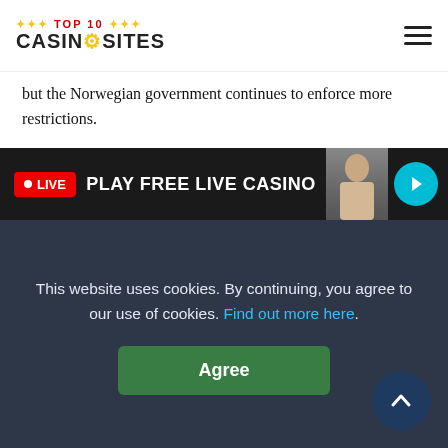TOP 10 CASINO SITES
but the Norwegian government continues to enforce more restrictions.
The nation has held a state-run monopoly since the Totalisator Act of 1927, which only grants NorskRikstoto and Norsk Tipping the right to conduct gambling activities.
However, because there are no laws against online gambling in Norway if the operator is licensed in the EEA, many such casinos allow Norwegian residents to register and play. It's only a matter of time until Norway releases its own casino licences, like its neighbours Denmark and Sweden.
[Figure (screenshot): LIVE banner: red LIVE badge, PLAY FREE LIVE CASINO text, dealer image, teal arrow button]
This website uses cookies. By continuing, you agree to our use of cookies. Find out more here.
Agree